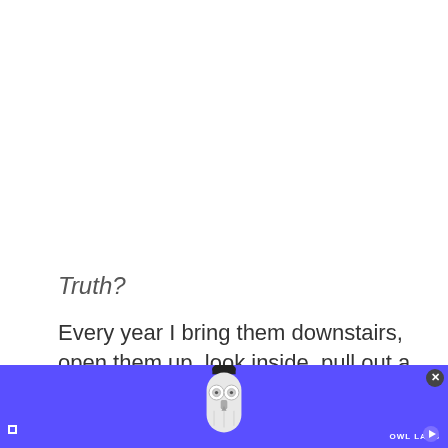Truth?
Every year I bring them downstairs, open them up, look inside, pull out a few pumpkins and
[Figure (illustration): Advertisement banner with purple/blue background showing a white owl-shaped device (Owl Labs meeting camera). Bottom area has OWL LABS branding text on right, close button (X) in top-right corner, expand/collapse icons bottom-left and bottom-right.]